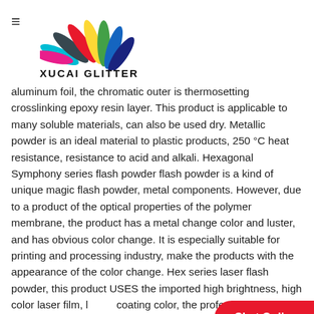☰ XUCAI GLITTER
[Figure (logo): Xucai Glitter logo with colorful fan-shaped petals (cyan, dark gray, red, yellow, green, dark blue, purple, magenta) arranged in a semicircle above the text XUCAI GLITTER]
aluminum foil, the chromatic outer is thermosetting crosslinking epoxy resin layer. This product is applicable to many soluble materials, can also be used dry. Metallic powder is an ideal material to plastic products, 250 °C heat resistance, resistance to acid and alkali. Hexagonal Symphony series flash powder flash powder is a kind of unique magic flash powder, metal components. However, due to a product of the optical properties of the polymer membrane, the product has a metal change color and luster, and has obvious color change. It is especially suitable for printing and processing industry, make the products with the appearance of the color change. Hex series laser flash powder, this product USES the imported high brightness, high color laser film, l coating color, the professional precision mecha